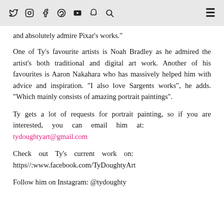Social media icons and navigation menu
and absolutely admire Pixar's works."
One of Ty's favourite artists is Noah Bradley as he admired the artist's both traditional and digital art work. Another of his favourites is Aaron Nakahara who has massively helped him with advice and inspiration. "I also love Sargents works", he adds. "Which mainly consists of amazing portrait paintings".
Ty gets a lot of requests for portrait painting, so if you are interested, you can email him at: tydoughtyart@gmail.com
Check out Ty's current work on: https//:www.facebook.com/TyDoughtyArt
Follow him on Instagram: @tydoughty